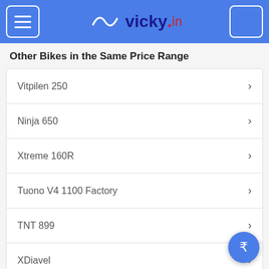vicky.in
Other Bikes in the Same Price Range
Vitpilen 250
Ninja 650
Xtreme 160R
Tuono V4 1100 Factory
TNT 899
XDiavel
Other Bikes of Honda
Dream Neo